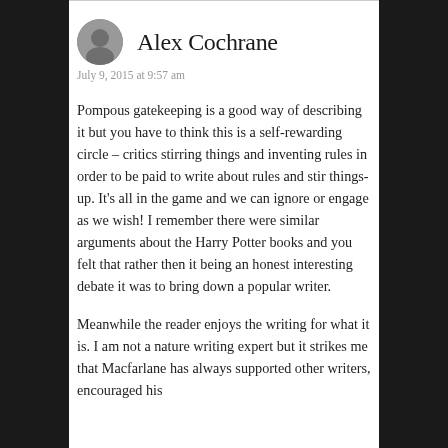Alex Cochrane
July 9, 2015 at 9:57 am
Pompous gatekeeping is a good way of describing it but you have to think this is a self-rewarding circle – critics stirring things and inventing rules in order to be paid to write about rules and stir things-up. It's all in the game and we can ignore or engage as we wish! I remember there were similar arguments about the Harry Potter books and you felt that rather then it being an honest interesting debate it was to bring down a popular writer.
Meanwhile the reader enjoys the writing for what it is. I am not a nature writing expert but it strikes me that Macfarlane has always supported other writers, encouraged his